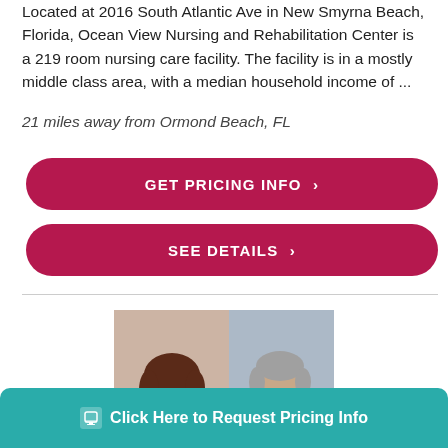Located at 2016 South Atlantic Ave in New Smyrna Beach, Florida, Ocean View Nursing and Rehabilitation Center is a 219 room nursing care facility. The facility is in a mostly middle class area, with a median household income of ...
21 miles away from Ormond Beach, FL
[Figure (other): GET PRICING INFO button - dark pink/crimson rounded rectangle button with white bold uppercase text and chevron]
[Figure (other): SEE DETAILS button - dark pink/crimson rounded rectangle button with white bold uppercase text and chevron]
[Figure (photo): Photo of a woman with glasses looking concerned and an older male doctor in a white coat, appearing to have a consultation]
Click Here to Request Pricing Info